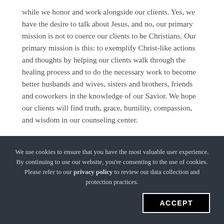while we honor and work alongside our clients. Yes, we have the desire to talk about Jesus, and no, our primary mission is not to coerce our clients to be Christians. Our primary mission is this: to exemplify Christ-like actions and thoughts by helping our clients walk through the healing process and to do the necessary work to become better husbands and wives, sisters and brothers, friends and coworkers in the knowledge of our Savior. We hope our clients will find truth, grace, humility, compassion, and wisdom in our counseling center.
To ask questions and find out more about biblical and clinical counseling, contact Journey at 540-908-3464.
We use cookies to ensure that you have the most valuable user experience. By continuing to use our website, you're consenting to the use of cookies. Please refer to our privacy policy to review our data collection and protection practices. ACCEPT